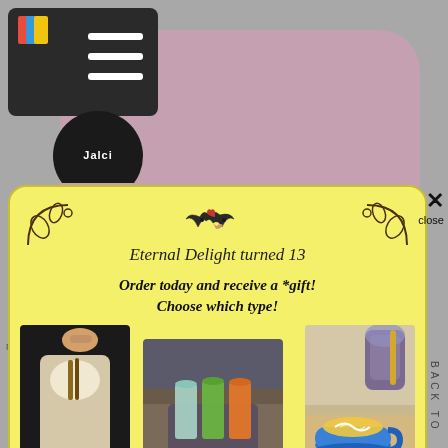[Figure (screenshot): Mobile app popup promotion for Eternal Delight turned 13 anniversary. Yellow popup modal with decorative corners, birds logo, three product images (protein shake, juice shots, latte), and discount codes: PROTEIN, SHOT, LATTE. Background shows mauve rounded rectangle and app navigation bar with cart icon.]
Eternal Delight turned 13
Order today and receive a *gift! Choose which type!
Use Code> PROTEIN
Use Code> SHOT
Use Code> LATTE
*randomly picked when order is being processed